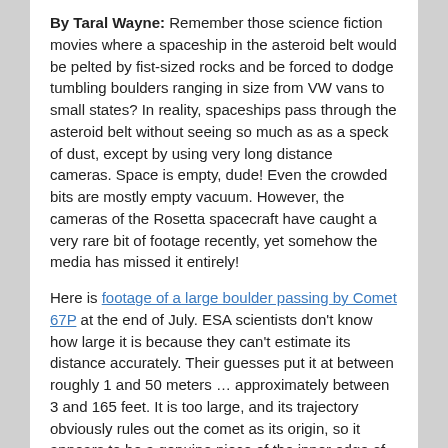By Taral Wayne: Remember those science fiction movies where a spaceship in the asteroid belt would be pelted by fist-sized rocks and be forced to dodge tumbling boulders ranging in size from VW vans to small states?  In reality, spaceships pass through the asteroid belt without seeing so much as as a speck of dust, except by using very long distance cameras. Space is empty, dude!  Even the crowded bits are mostly empty vacuum. However, the cameras of the Rosetta spacecraft have caught a very rare bit of footage recently, yet somehow the media has missed it entirely!
Here is footage of a large boulder passing by Comet 67P at the end of July. ESA scientists don't know how large it is because they can't estimate its distance accurately. Their guesses put it at between roughly 1 and 50 meters … approximately between 3 and 165 feet. It is too large, and its trajectory obviously rules out the comet as its origin, so it appears to be a genuine piece of the inner edge of the asteroid belt going by.  It must be in a similar orbit, as the relative velocities are not high.